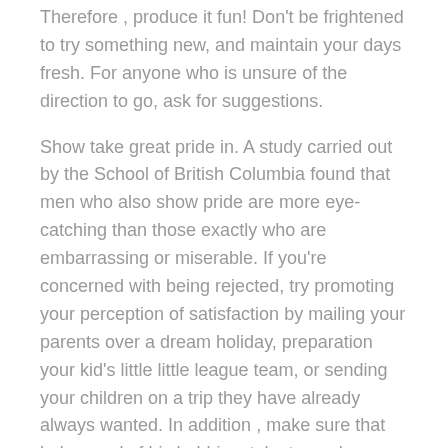Therefore , produce it fun! Don't be frightened to try something new, and maintain your days fresh. For anyone who is unsure of the direction to go, ask for suggestions.
Show take great pride in. A study carried out by the School of British Columbia found that men who also show pride are more eye-catching than those exactly who are embarrassing or miserable. If you're concerned with being rejected, try promoting your perception of satisfaction by mailing your parents over a dream holiday, preparation your kid's little little league team, or sending your children on a trip they have already always wanted. In addition , make sure that he's proud of his hobbies, talents, and passions, and be sure to show them off to your particular date.
Lastly, do not use cheesy lines or perhaps cliches. Ladies love men who is himself, and if a guy